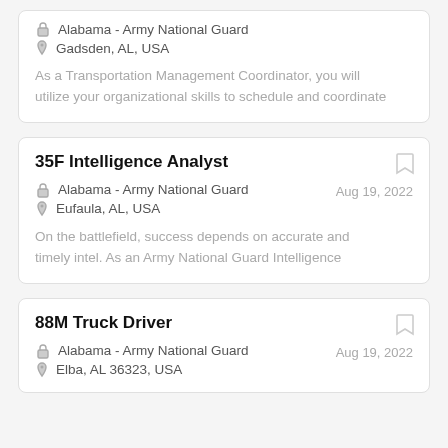Alabama - Army National Guard
Gadsden, AL, USA
As a Transportation Management Coordinator, you will utilize your organizational skills to schedule and coordinate
35F Intelligence Analyst
Alabama - Army National Guard
Aug 19, 2022
Eufaula, AL, USA
On the battlefield, success depends on accurate and timely intel. As an Army National Guard Intelligence
88M Truck Driver
Alabama - Army National Guard
Aug 19, 2022
Elba, AL 36323, USA